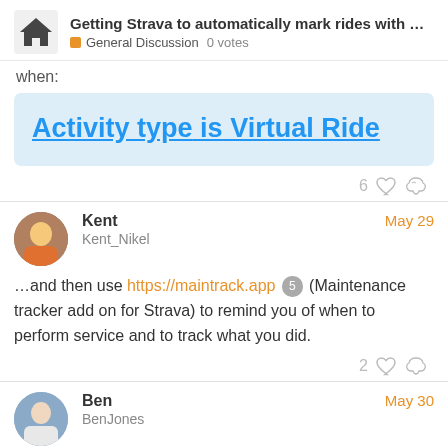Getting Strava to automatically mark rides with ... | General Discussion | 0 votes
when:
[Figure (screenshot): Light blue box showing condition text: 'Activity type is Virtual Ride' in bold blue underlined text]
6 likes
Kent
Kent_Nikel
May 29
…and then use https://maintrack.app 5 (Maintenance tracker add on for Strava) to remind you of when to perform service and to track what you did.
2 likes
Ben
BenJones
May 30